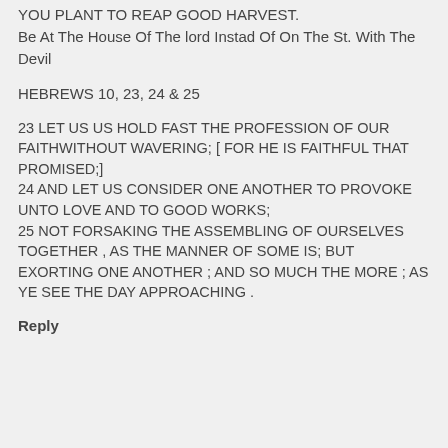YOU PLANT TO REAP GOOD HARVEST.
Be At The House Of The lord Instad Of On The St. With The Devil
HEBREWS 10, 23, 24 & 25
23 LET US US HOLD FAST THE PROFESSION OF OUR FAITHWITHOUT WAVERING; [ FOR HE IS FAITHFUL THAT PROMISED;]
24 AND LET US CONSIDER ONE ANOTHER TO PROVOKE UNTO LOVE AND TO GOOD WORKS;
25 NOT FORSAKING THE ASSEMBLING OF OURSELVES TOGETHER , AS THE MANNER OF SOME IS; BUT EXORTING ONE ANOTHER ; AND SO MUCH THE MORE ; AS YE SEE THE DAY APPROACHING .
Reply